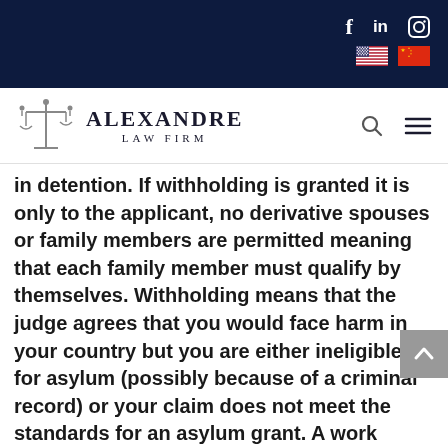Alexandre Law Firm - navigation header with social icons (Facebook, LinkedIn, Instagram), US and China flag icons, logo with scales of justice
in detention. If withholding is granted it is only to the applicant, no derivative spouses or family members are permitted meaning that each family member must qualify by themselves. Withholding means that the judge agrees that you would face harm in your country but you are either ineligible for asylum (possibly because of a criminal record) or your claim does not meet the standards for an asylum grant. A work authorization card is permitted but no travel document is allowed and there is no